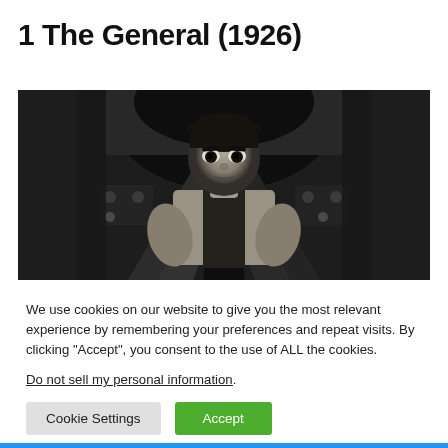1 The General (1926)
[Figure (photo): Black and white still from The General (1926) showing Buster Keaton crouching between the front beams of a locomotive, staring intensely at the camera.]
We use cookies on our website to give you the most relevant experience by remembering your preferences and repeat visits. By clicking “Accept”, you consent to the use of ALL the cookies.
Do not sell my personal information.
Cookie Settings   Accept